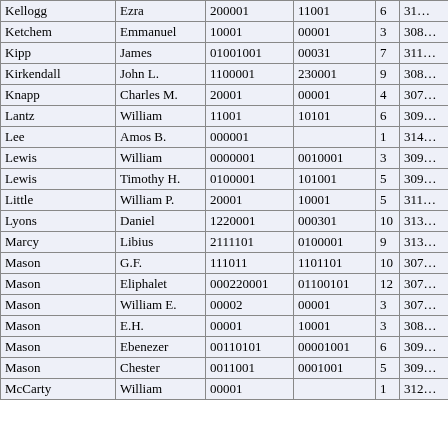| Kellogg | Ezra | 200001 | 11001 | 6 | 31… |
| Ketchem | Emmanuel | 10001 | 00001 | 3 | 308… |
| Kipp | James | 01001001 | 00031 | 7 | 311… |
| Kirkendall | John L. | 1100001 | 230001 | 9 | 308… |
| Knapp | Charles M. | 20001 | 00001 | 4 | 307… |
| Lantz | William | 11001 | 10101 | 6 | 309… |
| Lee | Amos B. | 000001 |  | 1 | 314… |
| Lewis | William | 0000001 | 0010001 | 3 | 309… |
| Lewis | Timothy H. | 0100001 | 101001 | 5 | 309… |
| Little | William P. | 20001 | 10001 | 5 | 311… |
| Lyons | Daniel | 1220001 | 000301 | 10 | 313… |
| Marcy | Libius | 2111101 | 0100001 | 9 | 313… |
| Mason | G.F. | 111011 | 1101101 | 10 | 307… |
| Mason | Eliphalet | 000220001 | 01100101 | 12 | 307… |
| Mason | William E. | 00002 | 00001 | 3 | 307… |
| Mason | E.H. | 00001 | 10001 | 3 | 308… |
| Mason | Ebenezer | 00110101 | 00001001 | 6 | 309… |
| Mason | Chester | 0011001 | 0001001 | 5 | 309… |
| McCarty | William | 00001 |  | 1 | 312… |